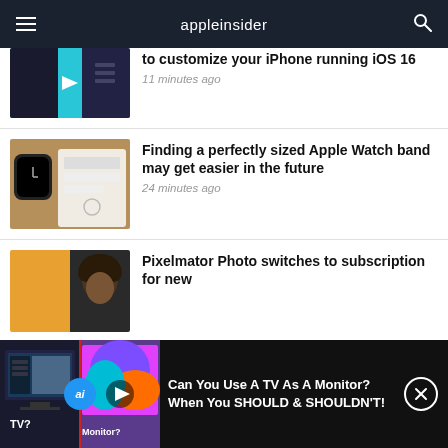appleinsider
[Figure (screenshot): Partial article image showing iPhone customization with arrow graphic on cyan background]
to customize your iPhone running iOS 16
11 minutes ago
[Figure (photo): Apple Watch and iPhone/tablet with a form/document on screen]
Finding a perfectly sized Apple Watch band may get easier in the future
24 minutes ago
[Figure (photo): Young man with curly hair, side-by-side photo comparison]
Pixelmator Photo switches to subscription for new
[Figure (screenshot): Video thumbnail: TV vs Monitor comparison with TV? and Monitor? text, colorful display]
Can You Use A TV As A Monitor? When You SHOULD & SHOULDN'T!